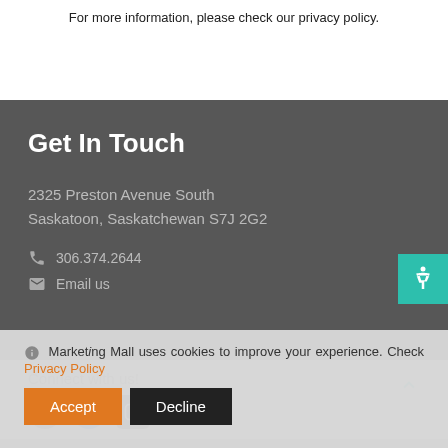For more information, please check our privacy policy.
Get In Touch
2325 Preston Avenue South
Saskatoon, Saskatchewan S7J 2G2
306.374.2644
Email us
Connect with us!
Marketing Mall uses cookies to improve your experience. Check Privacy Policy
Accept
Decline